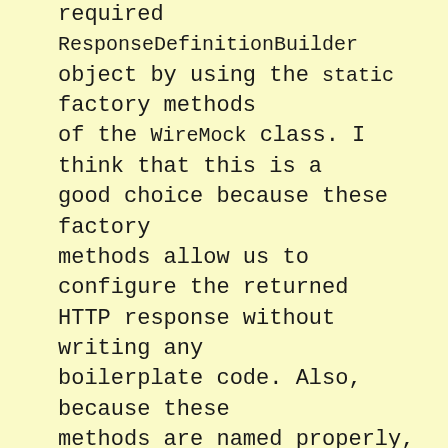required ResponseDefinitionBuilder object by using the static factory methods of the WireMock class. I think that this is a good choice because these factory methods allow us to configure the returned HTTP response without writing any boilerplate code. Also, because these methods are named properly, it's quite easy to see what the returned HTTP status code is.
If we want to configure the other properties of the returned HTTP response, we should create the required ResponseDefinitionBuilder object by using the manual approach. I think that this is a good choice because the manual